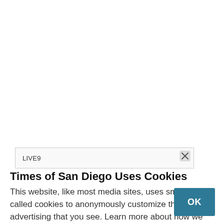[Figure (screenshot): White space area at top of page representing a webpage background]
[Figure (screenshot): Ad bar with close (X) button and text 'LIVE9']
Times of San Diego Uses Cookies
This website, like most media sites, uses small files called cookies to anonymously customize the advertising that you see. Learn more about how we use cookies in our cookie policy.